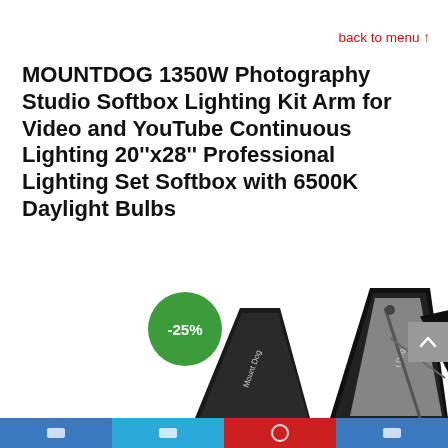back to menu ↑
MOUNTDOG 1350W Photography Studio Softbox Lighting Kit Arm for Video and YouTube Continuous Lighting 20''x28'' Professional Lighting Set Softbox with 6500K Daylight Bulbs
[Figure (photo): Product photo of MOUNTDOG softbox photography studio lighting kit showing multiple softbox umbrellas on stands, with a green -25% discount badge overlay in the bottom-left area of the image.]
Social share / navigation bar at bottom with icons